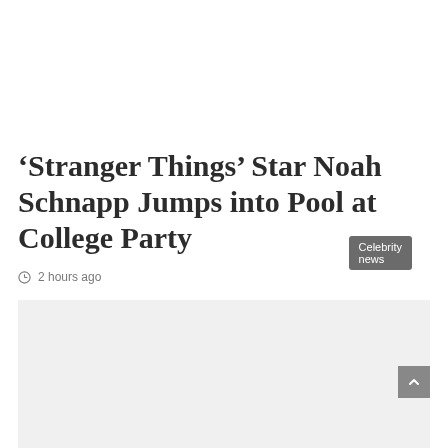Celebrity news
‘Stranger Things’ Star Noah Schnapp Jumps into Pool at College Party
2 hours ago
[Figure (photo): Light gray rectangular image placeholder area]